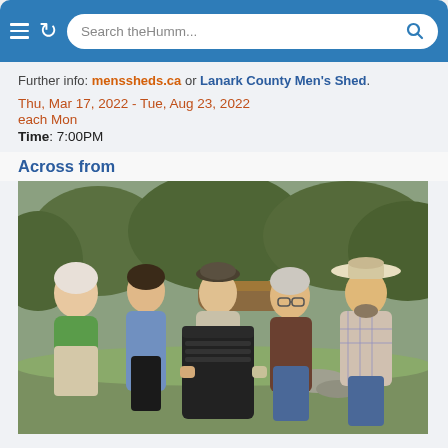[Figure (screenshot): Browser chrome bar with hamburger menu, refresh button, and search bar reading 'Search theHumm...']
Further info: menssheds.ca or Lanark County Men's Shed.
Thu, Mar 17, 2022 - Tue, Aug 23, 2022
each Mon
Time: 7:00PM
Across from
[Figure (photo): Five men standing outdoors in a field/wooded area. One man in the center is holding a dark-colored rectangular bat box. The man on the far left wears a green t-shirt, the second wears a blue shirt, the middle man wears a light shirt and flat cap, the fourth wears a brown shirt, and the man on the far right wears a plaid shirt and wide-brimmed hat.]